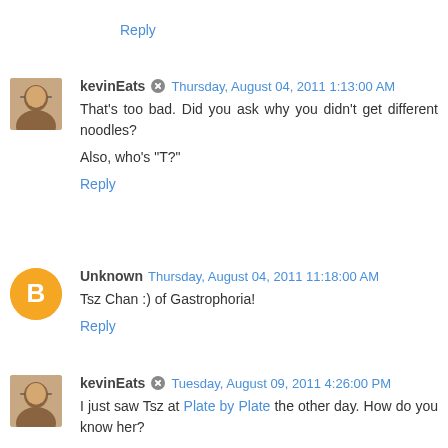Reply
kevinEats  Thursday, August 04, 2011 1:13:00 AM
That's too bad. Did you ask why you didn't get different noodles?

Also, who's "T?"
Reply
Unknown  Thursday, August 04, 2011 11:18:00 AM
Tsz Chan :) of Gastrophoria!
Reply
kevinEats  Tuesday, August 09, 2011 4:26:00 PM
I just saw Tsz at Plate by Plate the other day. How do you know her?